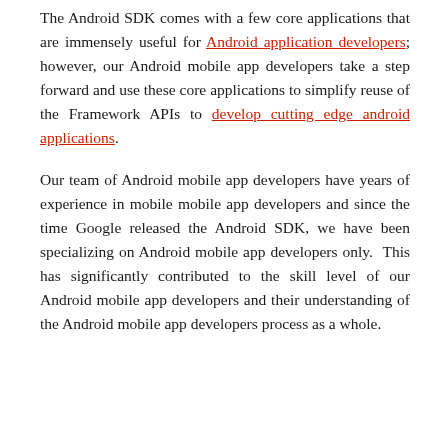The Android SDK comes with a few core applications that are immensely useful for Android application developers; however, our Android mobile app developers take a step forward and use these core applications to simplify reuse of the Framework APIs to develop cutting edge android applications.
Our team of Android mobile app developers have years of experience in mobile mobile app developers and since the time Google released the Android SDK, we have been specializing on Android mobile app developers only. This has significantly contributed to the skill level of our Android mobile app developers and their understanding of the Android mobile app developers process as a whole.